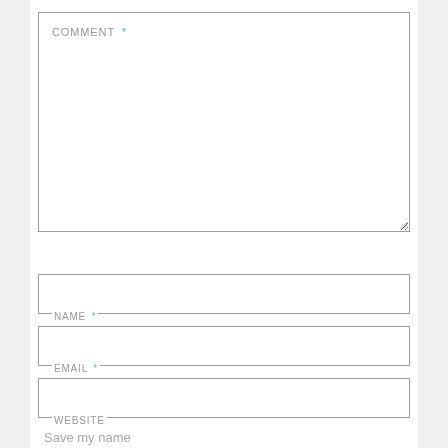COMMENT *
NAME *
EMAIL *
WEBSITE
Save my name